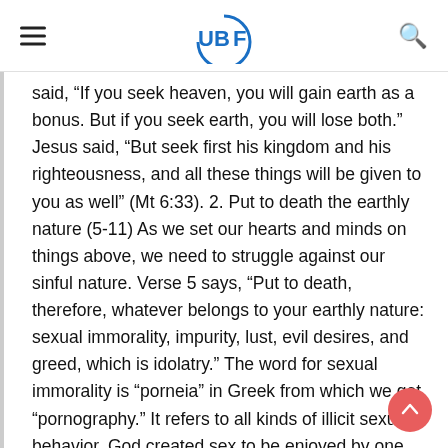UBF
said, “If you seek heaven, you will gain earth as a bonus. But if you seek earth, you will lose both.” Jesus said, “But seek first his kingdom and his righteousness, and all these things will be given to you as well” (Mt 6:33). 2. Put to death the earthly nature (5-11) As we set our hearts and minds on things above, we need to struggle against our sinful nature. Verse 5 says, “Put to death, therefore, whatever belongs to your earthly nature: sexual immorality, impurity, lust, evil desires, and greed, which is idolatry.” The word for sexual immorality is “porneia” in Greek from which we get “pornography.” It refers to all kinds of illicit sexual behavior. God created sex to be enjoyed by one